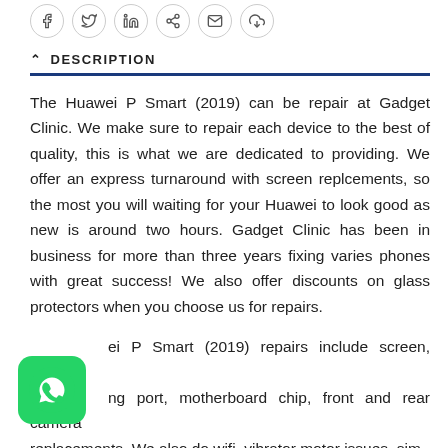[Figure (other): Social share icon buttons (Facebook, Twitter, LinkedIn, Pinterest/link, Email, Download) as circular bordered icons]
DESCRIPTION
The Huawei P Smart (2019) can be repair at Gadget Clinic. We make sure to repair each device to the best of quality, this is what we are dedicated to providing. We offer an express turnaround with screen replcements, so the most you will waiting for your Huawei to look good as new is around two hours. Gadget Clinic has been in business for more than three years fixing varies phones with great success! We also offer discounts on glass protectors when you choose us for repairs.
ei P Smart (2019) repairs include screen, battery, ng port, motherboard chip, front and rear camera replacements. We also do wifi, vibrator motor issues, sim
[Figure (logo): WhatsApp green rounded square icon with white phone handset]